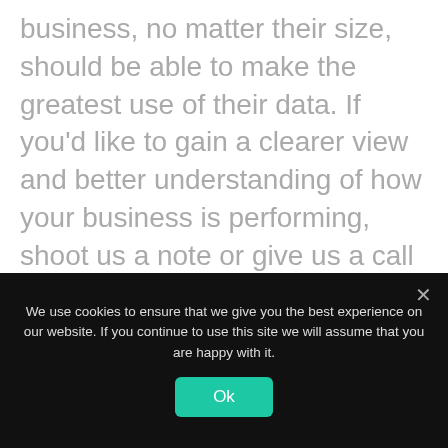business, no matter their size, should be able to make the greatest use of their data. If you'd like to gain a clearer view and better understanding of how your business is performing, shoot us a note or give us a call – we'd love to speak to you.
UK Office
10 Something Street Road...
We use cookies to ensure that we give you the best experience on our website. If you continue to use this site we will assume that you are happy with it.